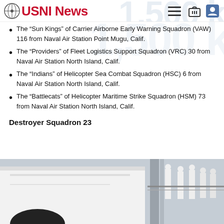USNI News
The “Sun Kings” of Carrier Airborne Early Warning Squadron (VAW) 116 from Naval Air Station Point Mugu, Calif.
The “Providers” of Fleet Logistics Support Squadron (VRC) 30 from Naval Air Station North Island, Calif.
The “Indians” of Helicopter Sea Combat Squadron (HSC) 6 from Naval Air Station North Island, Calif.
The “Battlecats” of Helicopter Maritime Strike Squadron (HSM) 73 from Naval Air Station North Island, Calif.
Destroyer Squadron 23
[Figure (photo): Photo of a naval vessel with sailors in white uniforms visible on the right side; white ship hull prominent on the left.]